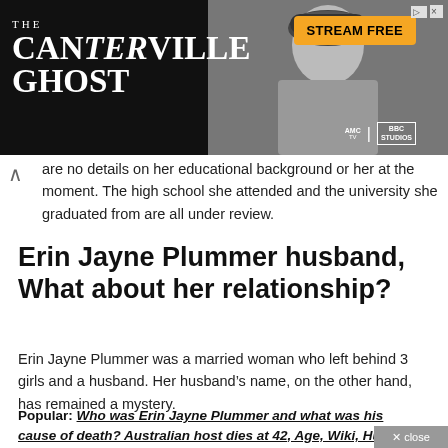[Figure (other): Advertisement banner for 'The Canterville Ghost' streaming show. Dark background with show title text on left, woman wearing riding helmet in center/right, orange 'STREAM FREE' button top right, AMC and BBC Studios logos bottom right.]
are no details on her educational background or her at the moment. The high school she attended and the university she graduated from are all under review.
Erin Jayne Plummer husband, What about her relationship?
Erin Jayne Plummer was a married woman who left behind 3 girls and a husband. Her husband's name, on the other hand, has remained a mystery.
Popular: Who was Erin Jayne Plummer and what was his cause of death? Australian host dies at 42, Age, Wiki, Husband and Family